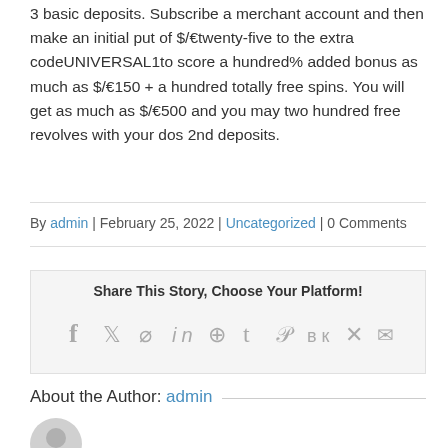3 basic deposits. Subscribe a merchant account and then make an initial put of $/€twenty-five to the extra codeUNIVERSAL1to score a hundred% added bonus as much as $/€150 + a hundred totally free spins. You will get as much as $/€500 and you may two hundred free revolves with your dos 2nd deposits.
By admin | February 25, 2022 | Uncategorized | 0 Comments
Share This Story, Choose Your Platform!
About the Author: admin